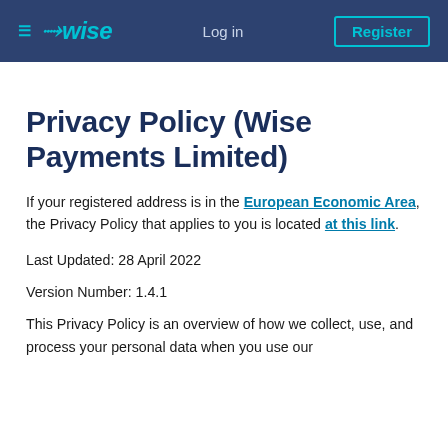≡ Wise  Log in  Register
Privacy Policy (Wise Payments Limited)
If your registered address is in the European Economic Area, the Privacy Policy that applies to you is located at this link.
Last Updated: 28 April 2022
Version Number: 1.4.1
This Privacy Policy is an overview of how we collect, use, and process your personal data when you use our